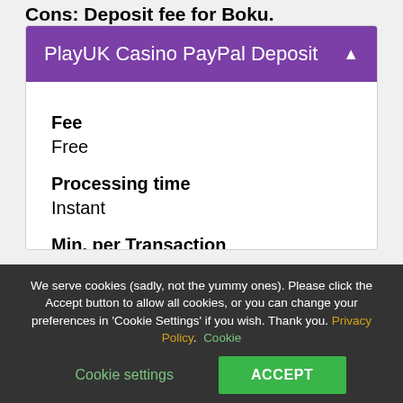Cons: Deposit fee for Boku.
PlayUK Casino PayPal Deposit
Fee
Free
Processing time
Instant
Min. per Transaction
£10
Max. per Transaction
We serve cookies (sadly, not the yummy ones). Please click the Accept button to allow all cookies, or you can change your preferences in 'Cookie Settings' if you wish. Thank you. Privacy Policy. Cookie settings
ACCEPT